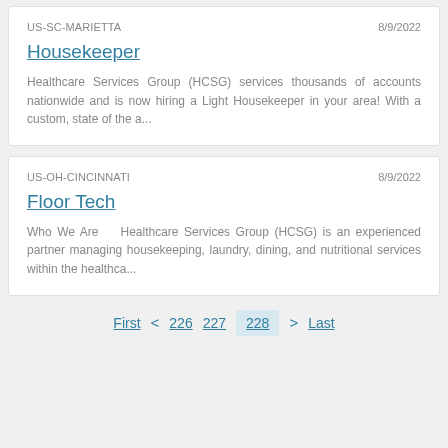US-SC-MARIETTA
8/9/2022
Housekeeper
Healthcare Services Group (HCSG) services thousands of accounts nationwide and is now hiring a Light Housekeeper in your area! With a custom, state of the a...
US-OH-CINCINNATI
8/9/2022
Floor Tech
Who We Are    Healthcare Services Group (HCSG) is an experienced partner managing housekeeping, laundry, dining, and nutritional services within the healthca...
First  <  226  227  228  >  Last